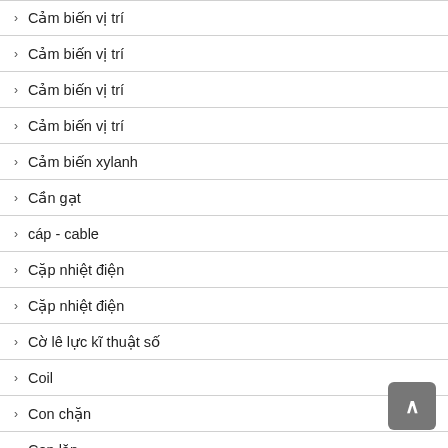Cảm biến vị trí
Cảm biến vị trí
Cảm biến vị trí
Cảm biến vị trí
Cảm biến xylanh
Cần gạt
cáp - cable
Cặp nhiệt điện
Cặp nhiệt điện
Cờ lê lực kĩ thuật số
Coil
Con chặn
Con lăn
Cổng giao tiếp